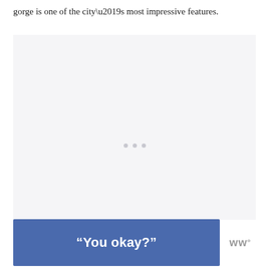gorge is one of the city’s most impressive features.
[Figure (photo): Large image placeholder with light gray background and loading dots indicator in the center]
“You okay?”